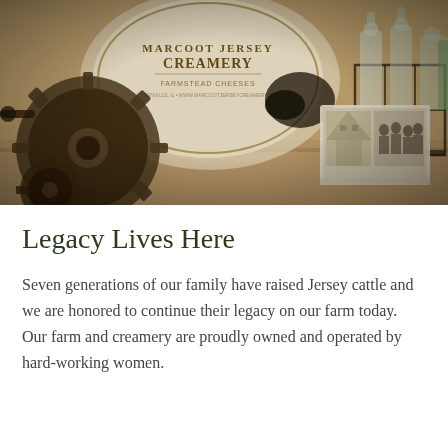[Figure (photo): Sepia-toned photograph showing Marcoot Jersey Creamery branded items including a round sign/plate reading 'Marcoot Jersey Creamery Farmstead Cheeses', vintage gear machinery on the left, glass milk bottles in a wire rack on the right, and an old black-and-white photograph in the center showing a building and group of people.]
Legacy Lives Here
Seven generations of our family have raised Jersey cattle and we are honored to continue their legacy on our farm today. Our farm and creamery are proudly owned and operated by hard-working women.